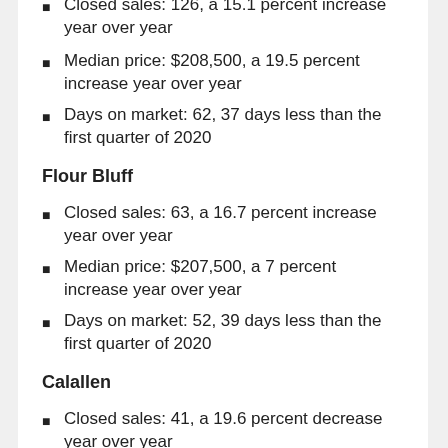Closed sales: 126, a 15.1 percent increase year over year
Median price: $208,500, a 19.5 percent increase year over year
Days on market: 62, 37 days less than the first quarter of 2020
Flour Bluff
Closed sales: 63, a 16.7 percent increase year over year
Median price: $207,500, a 7 percent increase year over year
Days on market: 52, 39 days less than the first quarter of 2020
Calallen
Closed sales: 41, a 19.6 percent decrease year over year